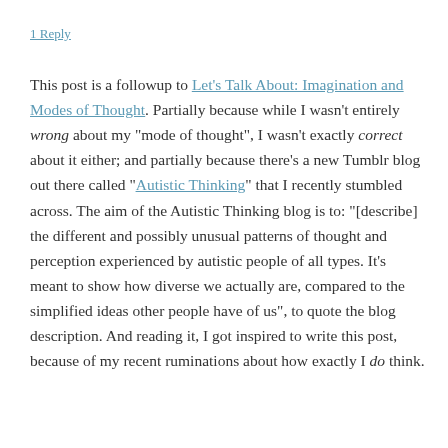1 Reply
This post is a followup to Let's Talk About: Imagination and Modes of Thought. Partially because while I wasn't entirely wrong about my "mode of thought", I wasn't exactly correct about it either; and partially because there's a new Tumblr blog out there called "Autistic Thinking" that I recently stumbled across. The aim of the Autistic Thinking blog is to: "[describe] the different and possibly unusual patterns of thought and perception experienced by autistic people of all types. It's meant to show how diverse we actually are, compared to the simplified ideas other people have of us", to quote the blog description. And reading it, I got inspired to write this post, because of my recent ruminations about how exactly I do think.